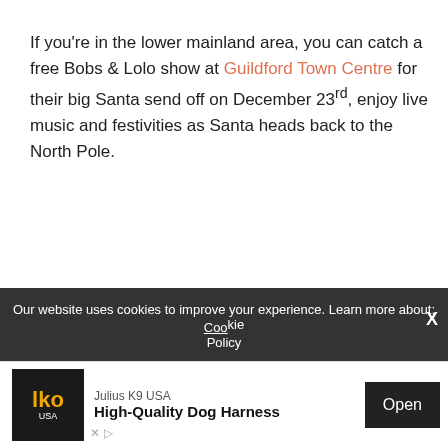If you're in the lower mainland area, you can catch a free Bobs & Lolo show at Guildford Town Centre for their big Santa send off on December 23rd, enjoy live music and festivities as Santa heads back to the North Pole.
Our website uses cookies to improve your experience. Learn more about: Cookie Policy
[Figure (other): Advertisement banner for Julius K9 USA High-Quality Dog Harness with logo, brand name, product title, and Open button]